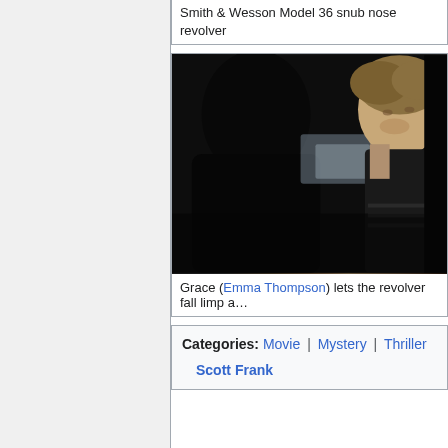Smith & Wesson Model 36 snub nose revolver
[Figure (photo): Dark movie still showing two figures, one in silhouette on the left and a young man with curly hair on the right, in a dimly lit scene]
Grace (Emma Thompson) lets the revolver fall limp a…
| Categories: | Movie | | | Mystery | | | Thriller |
|  | Scott Frank |  |  |  |  |